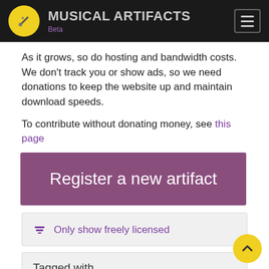MUSICAL ARTIFACTS Beta
As it grows, so do hosting and bandwidth costs. We don't track you or show ads, so we need donations to keep the website up and maintain download speeds.
To contribute without donating money, see this page
Register a new artifact
Only show freely licensed
Tagged with...
synth (6)   fm (6)   patches (6)   dx7 (6)